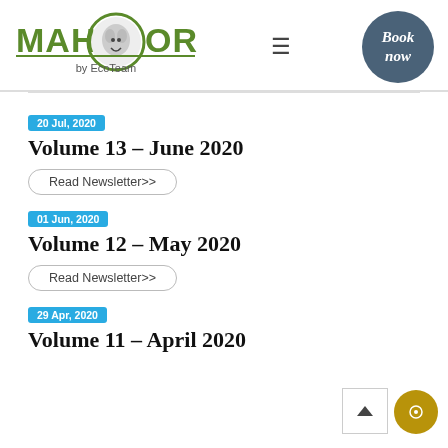Mahoora by EcoTeam — Book now
20 Jul, 2020
Volume 13 – June 2020
Read Newsletter>>
01 Jun, 2020
Volume 12 – May 2020
Read Newsletter>>
29 Apr, 2020
Volume 11 – April 2020